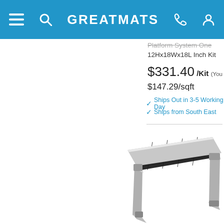GREATMATS
Platform System One 12Hx18Wx18L Inch Kit
$331.40 /Kit (You Save $...)
$147.29/sqft
Ships Out in 3-5 Working Days
Ships from South East
[Figure (photo): A raised platform step system with black rubber-textured surface on a silver aluminum frame, viewed at an angle showing the step from the front-right.]